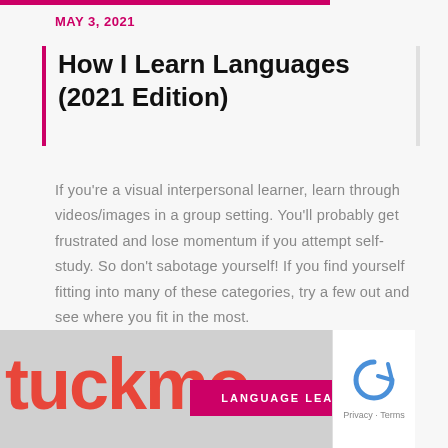MAY 3, 2021
How I Learn Languages (2021 Edition)
If you're a visual interpersonal learner, learn through videos/images in a group setting. You'll probably get frustrated and lose momentum if you attempt self-study. So don't sabotage yourself! If you find yourself fitting into many of these categories, try a few out and see where you fit in the most.
[Figure (photo): Photo with large red text 'fuckmo' partially visible and a magenta banner reading 'LANGUAGE LEARNING', with a reCAPTCHA widget on the right side]